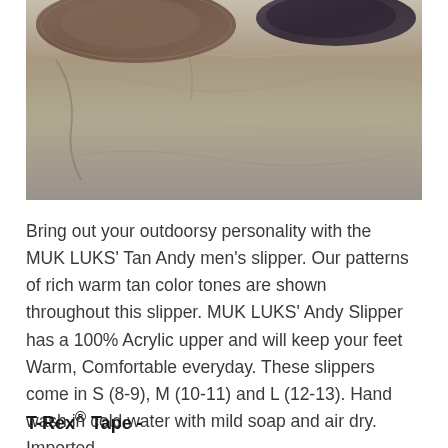[Figure (photo): Photo of MUK LUKS men's slippers on rocky surface, showing tan/brown fuzzy slipper and dark slipper from overhead angle]
Bring out your outdoorsy personality with the MUK LUKS' Tan Andy men's slipper. Our patterns of rich warm tan color tones are shown throughout this slipper. MUK LUKS' Andy Slipper has a 100% Acrylic upper and will keep your feet Warm, Comfortable everyday. These slippers come in S (8-9), M (10-11) and L (12-13). Hand wash in cold water with mild soap and air dry. Imported.
T-Rex® Tape -